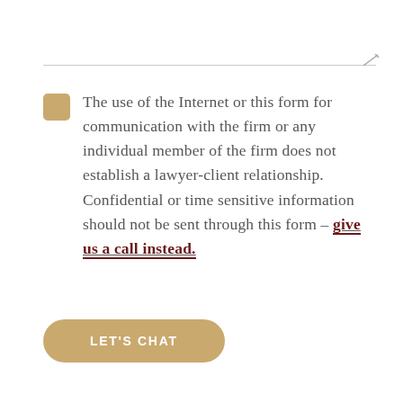The use of the Internet or this form for communication with the firm or any individual member of the firm does not establish a lawyer-client relationship. Confidential or time sensitive information should not be sent through this form – give us a call instead.
LET'S CHAT